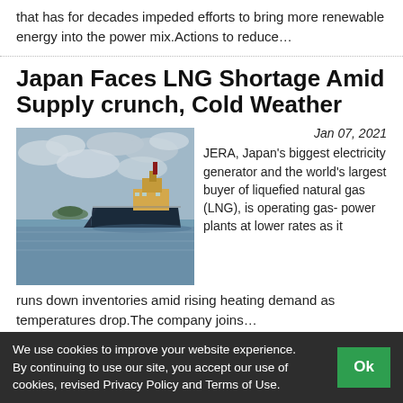that has for decades impeded efforts to bring more renewable energy into the power mix.Actions to reduce…
Japan Faces LNG Shortage Amid Supply crunch, Cold Weather
Jan 07, 2021
[Figure (photo): LNG tanker ship floating on calm water with cloudy sky and small island in background]
JERA, Japan's biggest electricity generator and the world's largest buyer of liquefied natural gas (LNG), is operating gas- power plants at lower rates as it runs down inventories amid rising heating demand as temperatures drop.The company joins…
Fugro, NYK to Provide
We use cookies to improve your website experience. By continuing to use our site, you accept our use of cookies, revised Privacy Policy and Terms of Use.